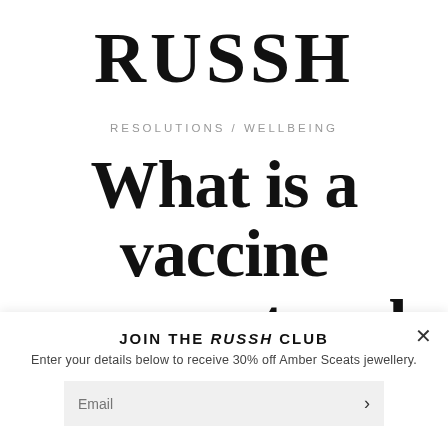[Figure (logo): RUSSH magazine logo in large bold serif font]
RESOLUTIONS / WELLBEING
What is a vaccine passport and how do we get our
JOIN THE RUSSH CLUB
Enter your details below to receive 30% off Amber Sceats jewellery.
Email